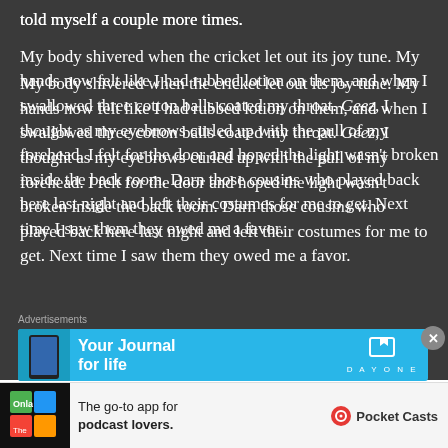told myself a couple more times.
My body shivered when the cricket let out its joy tune. My hands now felt like I had rubbed lotion on them, and when I swallowed three cotton balls coated my throat. Geez, I thought as my eyebrows curled up with the pull of my forehead. I felt for the door and hoped the light wasn't broken inside the back room. Darn those cousins who played back here last night and left their costumes for me to get. Next time I saw them they owed me a favor.
[Figure (screenshot): DayOne app advertisement banner - blue background with 'Your Journal for life' text and DayOne logo]
[Figure (screenshot): Pocket Casts advertisement - 'The go-to app for podcast lovers' with Pocket Casts logo on white/light background]